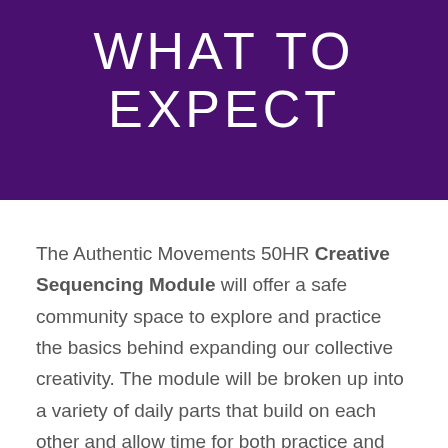WHAT TO EXPECT
The Authentic Movements 50HR Creative Sequencing Module will offer a safe community space to explore and practice the basics behind expanding our collective creativity. The module will be broken up into a variety of daily parts that build on each other and allow time for both practice and implementation of skills taught.